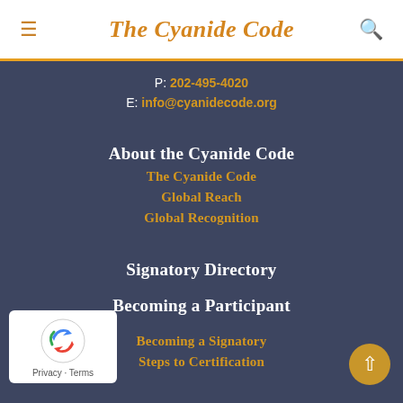The Cyanide Code
P: 202-495-4020
E: info@cyanidecode.org
About the Cyanide Code
The Cyanide Code
Global Reach
Global Recognition
Signatory Directory
Becoming a Participant
Becoming a Signatory
Steps to Certification
The Institute
Cyanide Code Training
Training Workshops